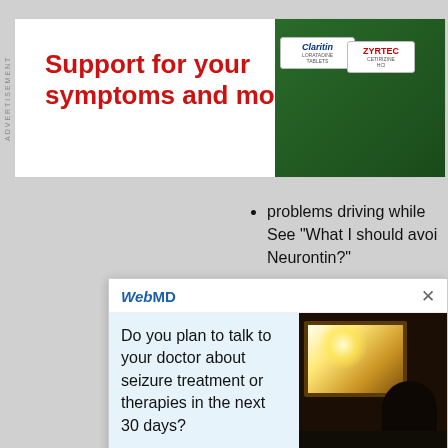[Figure (other): Advertisement banner for allergy medications (Claritin, Zyrtec) with text 'Support for your symptoms and more']
problems driving while
See "What I should avoi
Neurontin?"
[Figure (other): WebMD popup overlay with question 'Do you plan to talk to your doctor about seizure treatment or therapies in the next 30 days?' with Yes button and photo of person looking out train window at sunset]
Clicking yes will take you to a new page to learn
Epilepsy.